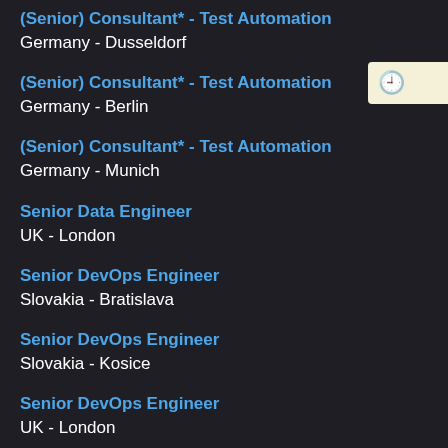(Senior) Consultant* - Test Automation
Germany - Dusseldorf
(Senior) Consultant* - Test Automation
Germany - Berlin
(Senior) Consultant* - Test Automation
Germany - Munich
Senior Data Engineer
UK - London
Senior DevOps Engineer
Slovakia - Bratislava
Senior DevOps Engineer
Slovakia - Kosice
Senior DevOps Engineer
UK - London